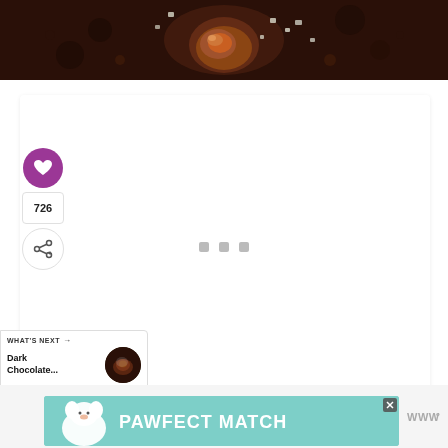[Figure (photo): Close-up photo of dark chocolate dessert (muffin/cookie) with chocolate ganache center and sea salt flakes on top, dark brown background]
[Figure (screenshot): White content card with sidebar social buttons: purple heart icon, like count 726, share icon with plus. Three gray loading dots in center of card.]
726
WHAT'S NEXT → Dark Chocolate...
[Figure (photo): Thumbnail of dark chocolate dessert for 'What's Next' recommendation]
[Figure (infographic): Advertisement banner with teal/mint background showing a white dog illustration and text 'PAWFECT MATCH' in large white bold letters. Close button X in top right corner.]